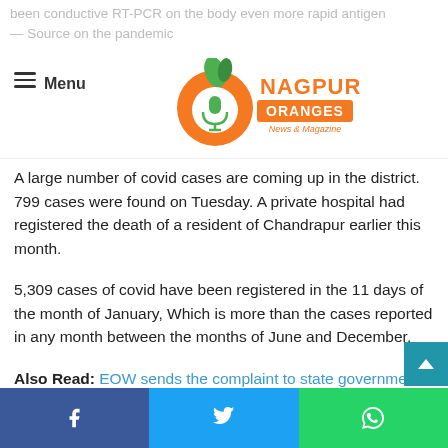been conductive RT-PCR on the body even more rapid antigen — Source on the pandemic
Menu — Nagpur Oranges News & Magazine logo
A large number of covid cases are coming up in the district. 799 cases were found on Tuesday. A private hospital had registered the death of a resident of Chandrapur earlier this month.
5,309 cases of covid have been registered in the 11 days of the month of January, Which is more than the cases reported in any month between the months of June and December.
Also Read: EOW sends the complaint to state government against NMC's soap given to OCW
Facebook | Twitter | WhatsApp share buttons